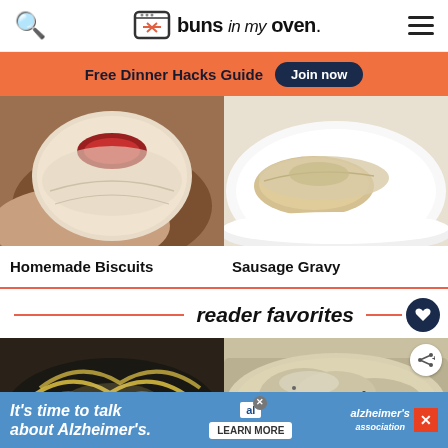buns in my oven
Free Dinner Hacks Guide  Join now
[Figure (photo): Close-up of a homemade biscuit held in a hand with jam visible on top]
[Figure (photo): Sausage gravy served on a biscuit on a white plate]
Homemade Biscuits
Sausage Gravy
reader favorites
[Figure (photo): Fettuccine Alfredo pasta in a dark skillet bowl]
[Figure (photo): Creamy chicken dish in a pan with black pepper]
WHAT'S NEXT → Caramel Peanut Butt...
It's time to talk about Alzheimer's.  LEARN MORE